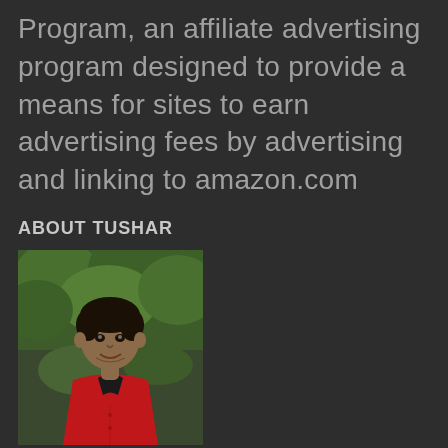Program, an affiliate advertising program designed to provide a means for sites to earn advertising fees by advertising and linking to amazon.com
ABOUT TUSHAR
[Figure (photo): Portrait photo of Tushar, a young man wearing a red shirt, standing outdoors with green trees in the background]